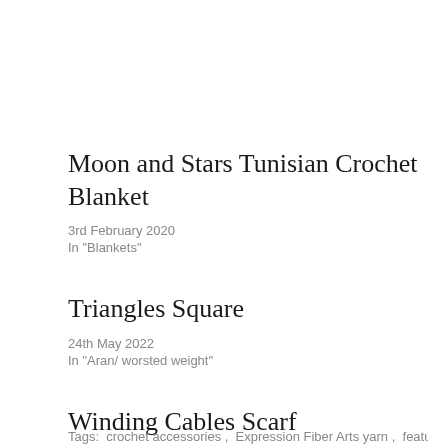Moon and Stars Tunisian Crochet Blanket
3rd February 2020
In "Blankets"
Triangles Square
24th May 2022
In "Aran/ worsted weight"
Winding Cables Scarf
30th November 2020
In "Accessories"
Tags:  crochet accessories ,  Expression Fiber Arts yarn ,  featured ,